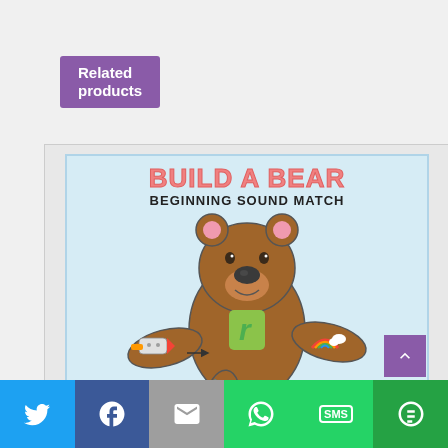Related products
[Figure (illustration): Educational product image: 'Build a Bear Beginning Sound Match' activity showing a cartoon bear with body parts that have pictures on them (rocket, rainbow, river, ruler), the bear's body shows the letter 'r'. Frogs and Fairies logo at bottom left.]
[Figure (infographic): Social share bar with Twitter, Facebook, Email, WhatsApp, SMS, and More buttons]